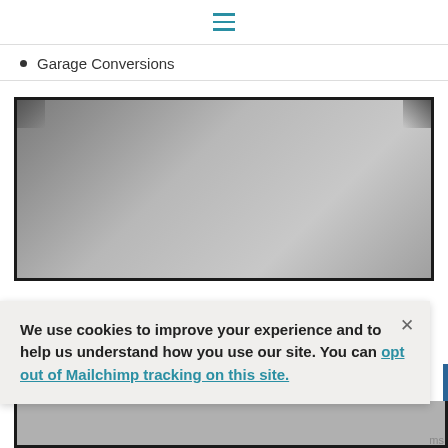Navigation menu (hamburger icon)
Garage Conversions
[Figure (photo): A large rectangular image with dark border and grey gradient fill, resembling a framed photo or placeholder image.]
We use cookies to improve your experience and to help us understand how you use our site. You can opt out of Mailchimp tracking on this site.